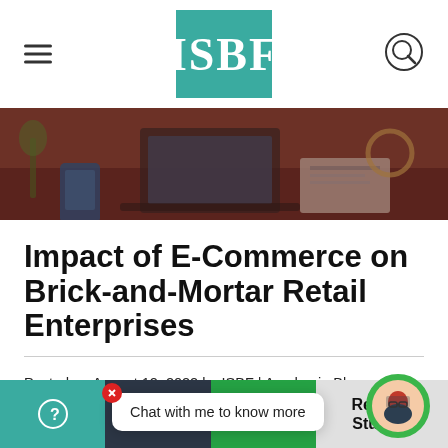ISBF
[Figure (photo): Hero banner image showing a desk with laptop, papers, phone and office items with dark red overlay]
Impact of E-Commerce on Brick-and-Mortar Retail Enterprises
Posted on August 12, 2022 by ISBF | Academia Blog
[Figure (illustration): Social media share icons: Facebook, LinkedIn, and Twitter/share buttons]
Chat with me to know more
? | Phone | WhatsApp | Reach a Student